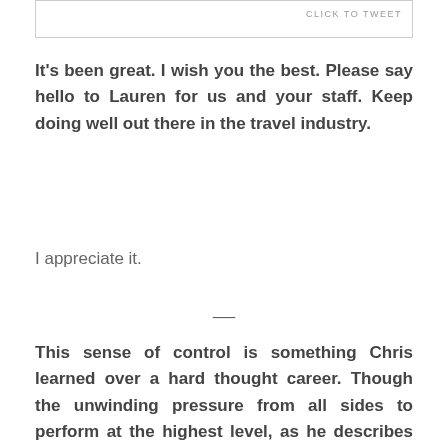[Figure (other): Tweet box with 'CLICK TO TWEET' label in top-right corner]
It’s been great. I wish you the best. Please say hello to Lauren for us and your staff. Keep doing well out there in the travel industry.
I appreciate it.
—
This sense of control is something Chris learned over a hard thought career. Though the unwinding pressure from all sides to perform at the highest level, as he describes it, could have been easily overtaken him. That’s why Chris and his wife, Lauren are so passionate about Well Inspired Travels. Their